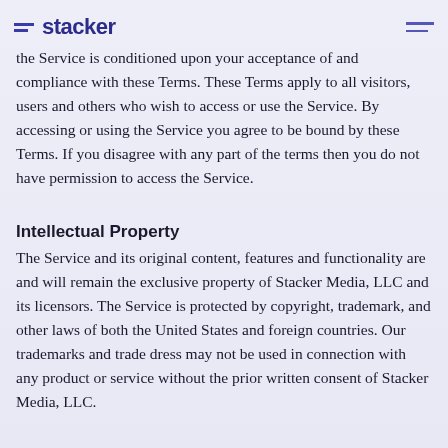Stacker
the Service is conditioned upon your acceptance of and compliance with these Terms. These Terms apply to all visitors, users and others who wish to access or use the Service. By accessing or using the Service you agree to be bound by these Terms. If you disagree with any part of the terms then you do not have permission to access the Service.
Intellectual Property
The Service and its original content, features and functionality are and will remain the exclusive property of Stacker Media, LLC and its licensors. The Service is protected by copyright, trademark, and other laws of both the United States and foreign countries. Our trademarks and trade dress may not be used in connection with any product or service without the prior written consent of Stacker Media, LLC.